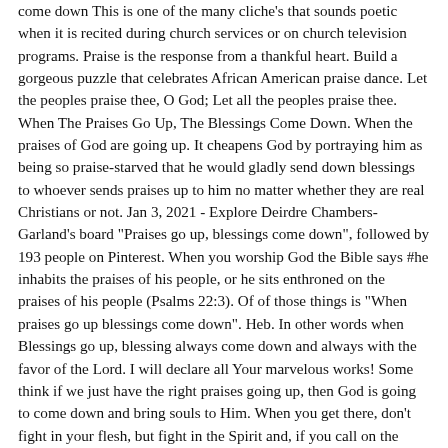come down This is one of the many cliche's that sounds poetic when it is recited during church services or on church television programs. Praise is the response from a thankful heart. Build a gorgeous puzzle that celebrates African American praise dance. Let the peoples praise thee, O God; Let all the peoples praise thee. When The Praises Go Up, The Blessings Come Down. When the praises of God are going up. It cheapens God by portraying him as being so praise-starved that he would gladly send down blessings to whoever sends praises up to him no matter whether they are real Christians or not. Jan 3, 2021 - Explore Deirdre Chambers-Garland's board "Praises go up, blessings come down", followed by 193 people on Pinterest. When you worship God the Bible says #he inhabits the praises of his people, or he sits enthroned on the praises of his people (Psalms 22:3). Of of those things is "When praises go up blessings come down". Heb. In other words when Blessings go up, blessing always come down and always with the favor of the Lord. I will declare all Your marvelous works! Some think if we just have the right praises going up, then God is going to come down and bring souls to Him. When you get there, don't fight in your flesh, but fight in the Spirit and, if you call on the name of the Lord, He will deliver you! However, when one considers where in the scripture this statement comes … Give importance to praising the Lord. When the praises go up (It seems like blessings keep falling in my lap) The blessings come down. Verse 1: When the praises go up, *God's blessings come down